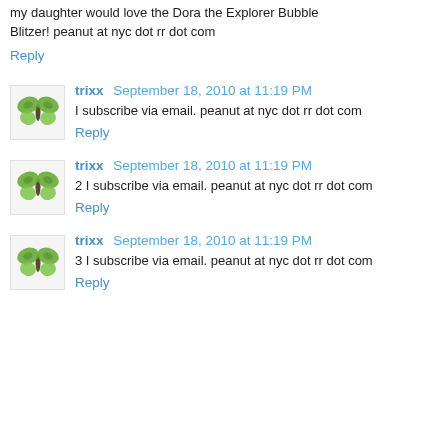my daughter would love the Dora the Explorer Bubble Blitzer! peanut at nyc dot rr dot com
Reply
trixx  September 18, 2010 at 11:19 PM
I subscribe via email. peanut at nyc dot rr dot com
Reply
trixx  September 18, 2010 at 11:19 PM
2 I subscribe via email. peanut at nyc dot rr dot com
Reply
trixx  September 18, 2010 at 11:19 PM
3 I subscribe via email. peanut at nyc dot rr dot com
Reply